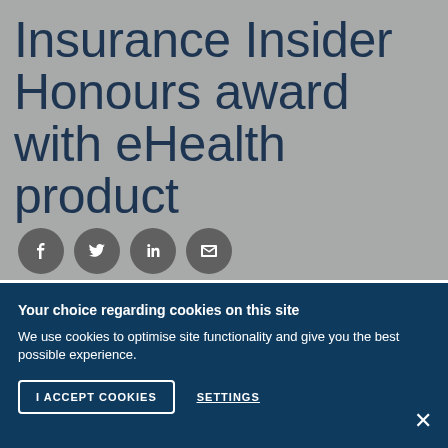Insurance Insider Honours award with eHealth product
[Figure (infographic): Four social sharing icon circles: Facebook (f), Twitter (bird), LinkedIn (in), Email (envelope)]
Your choice regarding cookies on this site
We use cookies to optimise site functionality and give you the best possible experience.
I ACCEPT COOKIES
SETTINGS